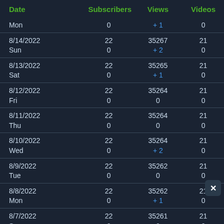| Date | Subscribers | Views | Videos |
| --- | --- | --- | --- |
| Mon | 0 | +1 | 0 |
| 8/14/2022
Sun | 22
0 | 35267
+2 | 21
0 |
| 8/13/2022
Sat | 22
0 | 35265
+1 | 21
0 |
| 8/12/2022
Fri | 22
0 | 35264
0 | 21
0 |
| 8/11/2022
Thu | 22
0 | 35264
0 | 21
0 |
| 8/10/2022
Wed | 22
0 | 35264
+2 | 21
0 |
| 8/9/2022
Tue | 22
0 | 35262
0 | 21
0 |
| 8/8/2022
Mon | 22
0 | 35262
+1 | 21
0 |
| 8/7/2022
Sun | 22
0 | 35261
0 | 21
0 |